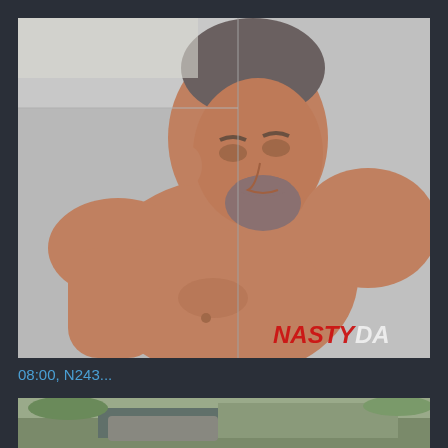[Figure (photo): A shirtless middle-aged man with a goatee looking downward, standing in front of a metal diamond-plate wall. A watermark reading 'NASTYDA' appears in the bottom-right corner of the image.]
08:00, N243...
[Figure (photo): Partial thumbnail of a second video showing an outdoor scene with a vehicle, partially cut off at the bottom of the page.]